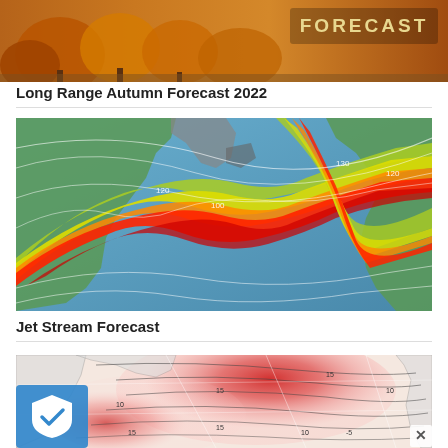[Figure (map): Autumn forecast banner image showing orange/golden foliage background with 'FORECAST' text overlay in the upper right]
Long Range Autumn Forecast 2022
[Figure (map): Jet stream forecast map showing global atmospheric wind patterns with colorful streamlines (blue background with green, yellow, orange, red bands indicating wind speed) over North Atlantic and Europe]
Jet Stream Forecast
[Figure (map): Weather pressure/anomaly map showing pink and red shading over North Atlantic and Arctic region with isobar contour lines, partially cut off at bottom. A blue shield/checkmark security icon overlaid in lower-left corner and an X close button in lower-right.]